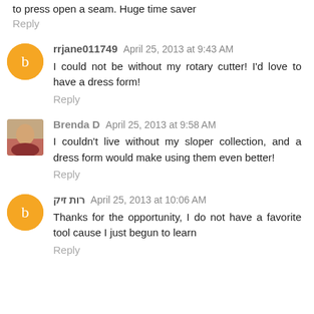to press open a seam. Huge time saver
Reply
rrjane011749  April 25, 2013 at 9:43 AM
I could not be without my rotary cutter! I'd love to have a dress form!
Reply
Brenda D  April 25, 2013 at 9:58 AM
I couldn't live without my sloper collection, and a dress form would make using them even better!
Reply
רות זיק  April 25, 2013 at 10:06 AM
Thanks for the opportunity, I do not have a favorite tool cause I just begun to learn
Reply